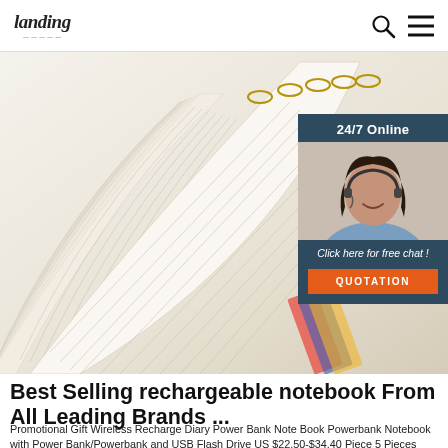landing (logo) | search icon | menu icon
[Figure (photo): Close-up photo of an open lined notebook/diary with pages fanned out, showing rings and colorful spine. Overlaid with a '24/7 Online' chat support widget showing a female customer service agent, 'Click here for free chat!' text, and an orange QUOTATION button.]
Best Selling rechargeable notebook From All Leading Brands ...
Promotional Gift Wireless Recharge Diary Power Bank Note Book Powerbank Notebook with Power Bank/Powerbank and USB Flash Drive US $22.50-$34.40 Piece 5 Pieces (Min. Order)